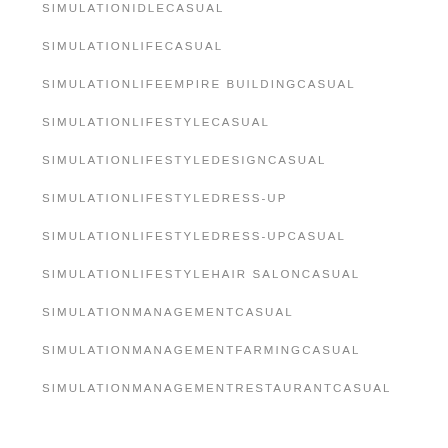SIMULATIONIDLECASUAL
SIMULATIONLIFECASUAL
SIMULATIONLIFEEMPIRE BUILDINGCASUAL
SIMULATIONLIFESTYLECASUAL
SIMULATIONLIFESTYLEDESIGNCASUAL
SIMULATIONLIFESTYLEDRESS-UP
SIMULATIONLIFESTYLEDRESS-UPCASUAL
SIMULATIONLIFESTYLEHAIR SALONCASUAL
SIMULATIONMANAGEMENTCASUAL
SIMULATIONMANAGEMENTFARMINGCASUAL
SIMULATIONMANAGEMENTRESTAURANTCASUAL